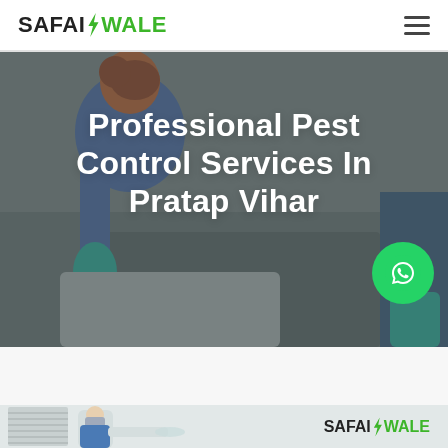SAFAIWALE — navigation bar with logo and hamburger menu
[Figure (photo): Hero banner showing a woman in a blue shirt and teal gloves cleaning a surface, with a dark overlay. Large white text reads 'Professional Pest Control Services In Pratap Vihar'. A green WhatsApp button is overlaid on the right side.]
Professional Pest Control Services In Pratap Vihar
[Figure (photo): Bottom partial banner showing a person in protective gear (likely a pest control worker) on the left, and the SafaiWale logo on the right against a light background.]